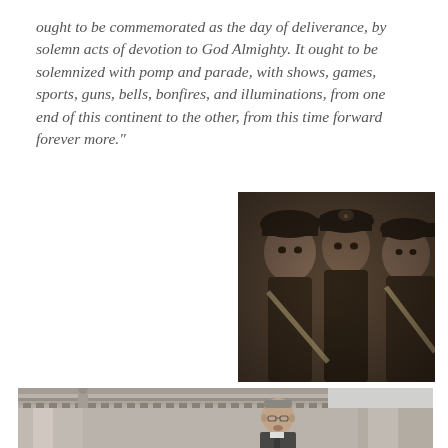ought to be commemorated as the day of deliverance, by solemn acts of devotion to God Almighty. It ought to be solemnized with pomp and parade, with shows, games, sports, guns, bells, bonfires, and illuminations, from one end of this continent to the other, from this time forward forever more."
[Figure (photo): Black and white sepia-toned photograph of three African American Civil War soldiers in uniform with caps, looking forward seriously, with rifle straps visible]
[Figure (photo): Black and white photograph of a man with glasses speaking at what appears to be a classical building with columns and ornate architectural details in the background]